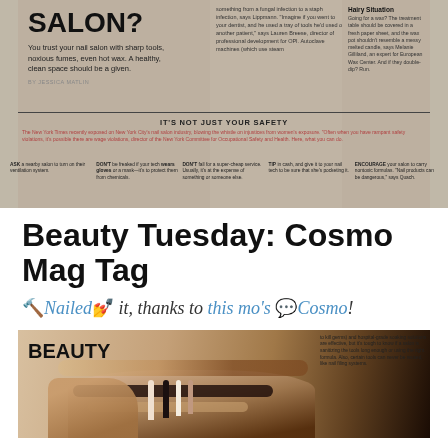[Figure (photo): Magazine page photo showing 'IS YOUR NAIL SALON?' article with salon safety tips, columns about fungal infections, hairy situation waxing tips, and advice on tipping nail techs]
Beauty Tuesday: Cosmo Mag Tag
🔨 Nailed💅 it, thanks to this mo's 💬Cosmo!
[Figure (photo): Close-up photo of hands with manicured nails on a Cosmo beauty magazine page showing BEAUTY section header, with text about killing germs and hospital-grade soaking solutions]